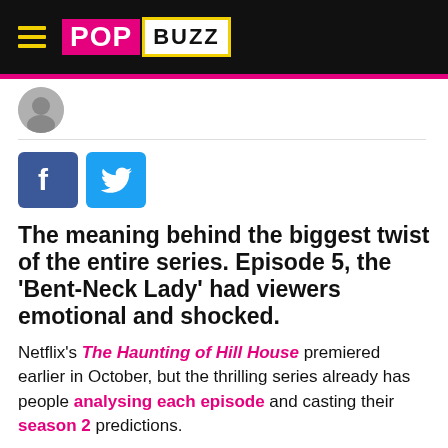[Figure (logo): PopBuzz logo on black header bar with hamburger menu icon and yellow lines]
[Figure (photo): Small circular author avatar photo]
[Figure (infographic): Facebook and Twitter social share buttons]
The meaning behind the biggest twist of the entire series. Episode 5, the 'Bent-Neck Lady' had viewers emotional and shocked.
Netflix's The Haunting of Hill House premiered earlier in October, but the thrilling series already has people analysing each episode and casting their season 2 predictions.
One episode that really captured the